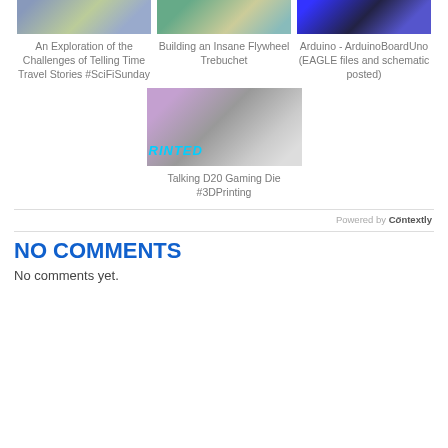[Figure (photo): Thumbnail image for 'An Exploration of the Challenges of Telling Time Travel Stories #SciFiSunday']
An Exploration of the Challenges of Telling Time Travel Stories #SciFiSunday
[Figure (photo): Thumbnail image for 'Building an Insane Flywheel Trebuchet']
Building an Insane Flywheel Trebuchet
[Figure (photo): Thumbnail image for 'Arduino - ArduinoBoardUno (EAGLE files and schematic posted)']
Arduino - ArduinoBoardUno (EAGLE files and schematic posted)
[Figure (photo): Thumbnail image for 'Talking D20 Gaming Die #3DPrinting', showing a 3D printed die with cyan RINTED text]
Talking D20 Gaming Die #3DPrinting
Powered by Contextly
NO COMMENTS
No comments yet.